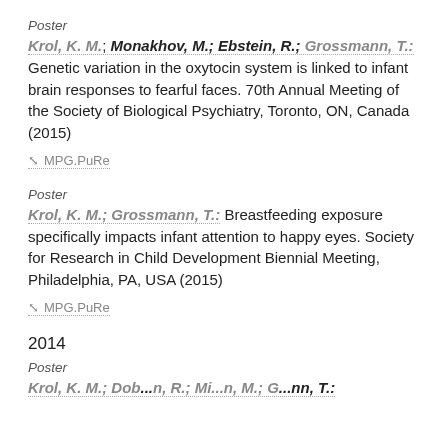Poster
Krol, K. M.; Monakhov, M.; Ebstein, R.; Grossmann, T.: Genetic variation in the oxytocin system is linked to infant brain responses to fearful faces. 70th Annual Meeting of the Society of Biological Psychiatry, Toronto, ON, Canada (2015)
MPG.PuRe
Poster
Krol, K. M.; Grossmann, T.: Breastfeeding exposure specifically impacts infant attention to happy eyes. Society for Research in Child Development Biennial Meeting, Philadelphia, PA, USA (2015)
MPG.PuRe
2014
Poster
Krol, K. M.; Dob...n, R.; Mi...n, M.; Gr...nn, T.: